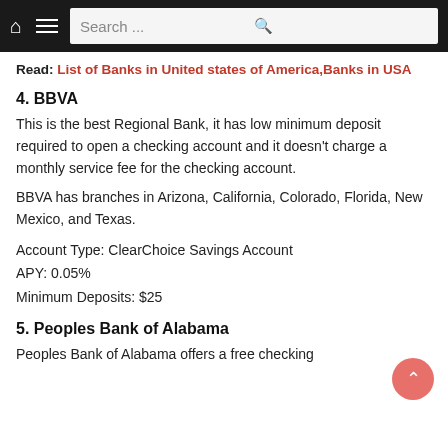Search ...
Read: List of Banks in United states of America,Banks in USA
4. BBVA
This is the best Regional Bank, it has low minimum deposit required to open a checking account and it doesn't charge a monthly service fee for the checking account.
BBVA has branches in Arizona, California, Colorado, Florida, New Mexico, and Texas.
Account Type: ClearChoice Savings Account
APY: 0.05%
Minimum Deposits: $25
5. Peoples Bank of Alabama
Peoples Bank of Alabama offers a free checking